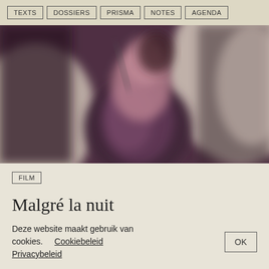TEXTS | DOSSIERS | PRISMA | NOTES | AGENDA
[Figure (photo): Blurred photograph of a woman singing or performing, wearing a sparkly dark dress, holding a microphone, with dark and light blurred figures in the background.]
FILM
Malgré la nuit
Philippe Grandrieux, 2015, 156'
Deze website maakt gebruik van cookies.   Cookiebeleid
Privacybeleid